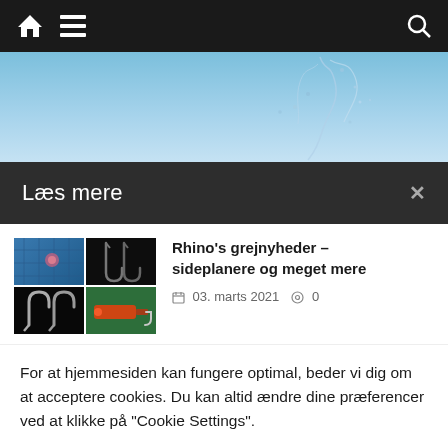Navigation bar with home, menu, and search icons
[Figure (photo): Hero image showing a blue sky with water splash]
Læs mere
[Figure (photo): Article thumbnail grid showing fishing net, hooks, and lure images]
Rhino's grejnyheder – sideplanere og meget mere
03. marts 2021   0
For at hjemmesiden kan fungere optimal, beder vi dig om at acceptere cookies. Du kan altid ændre dine præferencer ved at klikke på "Cookie Settings".
Cookie Settings   Accepter cookies